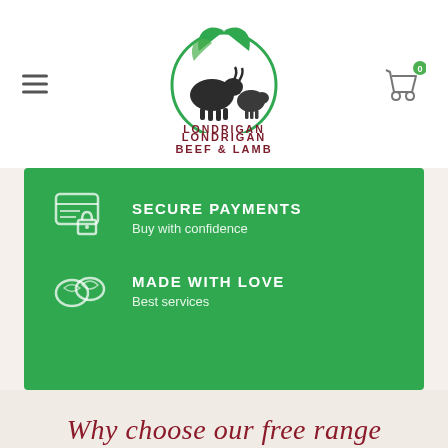[Figure (logo): Londrigan Beef & Lamb logo: green circular leaf design with cow and sheep silhouettes, text LONDRIGAN BEEF & LAMB below in dark red/maroon]
[Figure (infographic): Green banner with two feature rows: 1) credit card with lock icon, SECURE PAYMENTS, Buy with confidence; 2) handshake/leaves icon, MADE WITH LOVE, Best services]
Why choose our free range